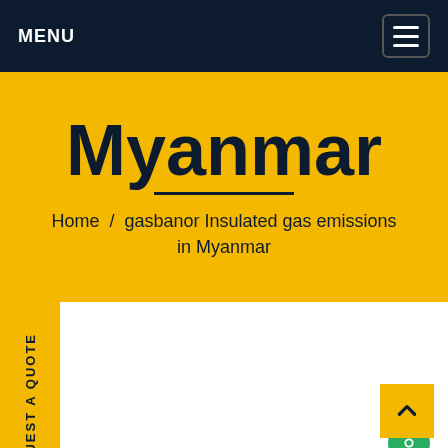MENU
Myanmar
Home / gasbanor Insulated gas emissions in Myanmar